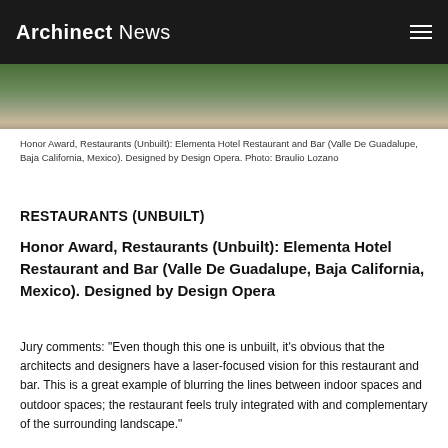Archinect News
[Figure (photo): Aerial or elevated view of a restaurant and landscape with green vegetation and sandy/earthen path]
Honor Award, Restaurants (Unbuilt): Elementa Hotel Restaurant and Bar (Valle De Guadalupe, Baja California, Mexico). Designed by Design Opera. Photo: Braulio Lozano
RESTAURANTS (UNBUILT)
Honor Award, Restaurants (Unbuilt): Elementa Hotel Restaurant and Bar (Valle De Guadalupe, Baja California, Mexico). Designed by Design Opera
Jury comments: "Even though this one is unbuilt, it's obvious that the architects and designers have a laser-focused vision for this restaurant and bar. This is a great example of blurring the lines between indoor spaces and outdoor spaces; the restaurant feels truly integrated with and complementary of the surrounding landscape."